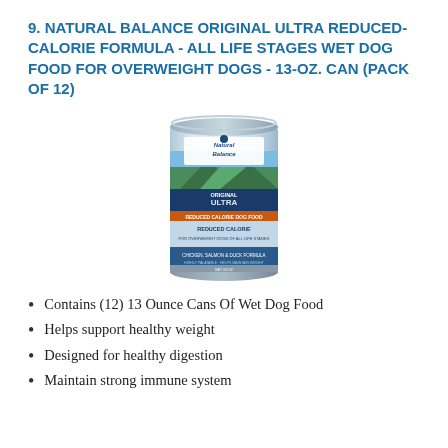9. NATURAL BALANCE ORIGINAL ULTRA REDUCED-CALORIE FORMULA - ALL LIFE STAGES WET DOG FOOD FOR OVERWEIGHT DOGS - 13-OZ. CAN (PACK OF 12)
[Figure (photo): A 13-oz can of Natural Balance Original Ultra Reduced Calorie wet dog food, light blue label with green mountain scenery, showing chicken, salmon & duck formula text.]
Contains (12) 13 Ounce Cans Of Wet Dog Food
Helps support healthy weight
Designed for healthy digestion
Maintain strong immune system